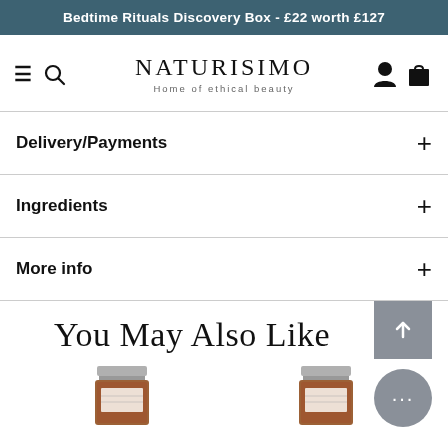Bedtime Rituals Discovery Box - £22 worth £127
[Figure (logo): Naturisimo logo with tagline 'Home of ethical beauty', hamburger menu, search icon, user icon, and bag icon in navigation bar]
Delivery/Payments
Ingredients
More info
You May Also Like
[Figure (photo): Two amber glass jars with silver lids shown at bottom of page as product thumbnails]